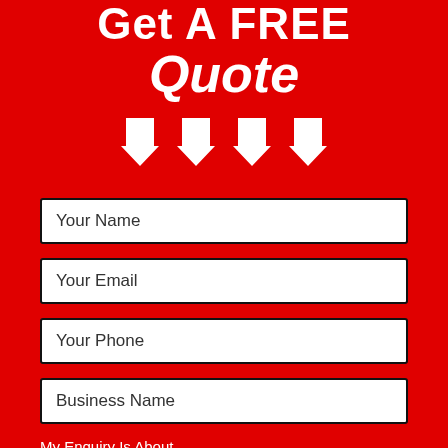Get A FREE Quote
[Figure (illustration): Four white downward-pointing arrows in a row on red background]
Your Name
Your Email
Your Phone
Business Name
My Enquiry Is About
---